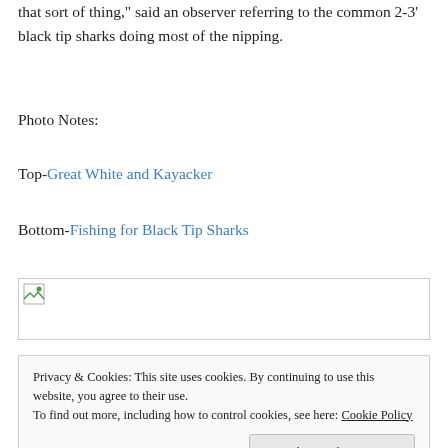that sort of thing," said an observer referring to the common 2-3' black tip sharks doing most of the nipping.
Photo Notes:
Top-Great White and Kayacker
Bottom-Fishing for Black Tip Sharks
[Figure (photo): Broken image placeholder icon in top-left corner, image failed to load]
Privacy & Cookies: This site uses cookies. By continuing to use this website, you agree to their use. To find out more, including how to control cookies, see here: Cookie Policy